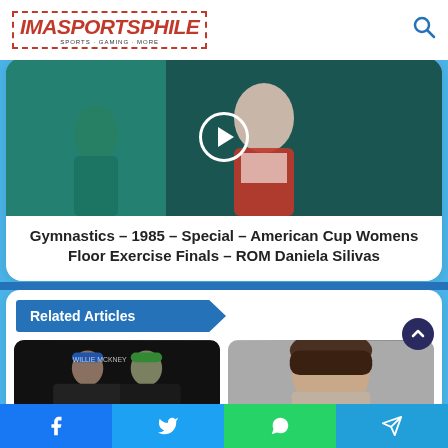[Figure (logo): IMASPORTSPHILE website logo with sports icons and text]
[Figure (screenshot): Video thumbnail showing gymnastics athlete in red and white leotard with play button overlay]
Gymnastics - 1985 - Special - American Cup Womens Floor Exercise Finals - ROM Daniela Silivas
Related Articles
[Figure (photo): Two people wearing baseball caps - thumbnail for related article]
[Figure (photo): Person with dark hair - thumbnail for related article]
[Figure (infographic): Social share bar with Facebook, Twitter, WhatsApp, and Telegram buttons]